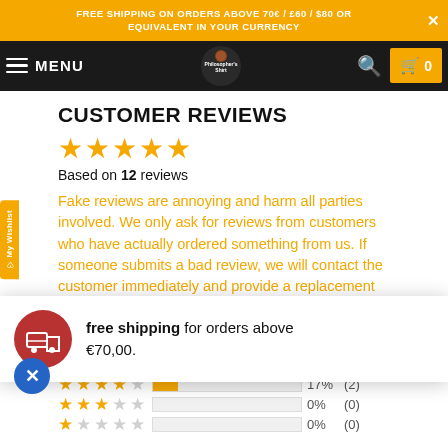FREE SHIPPING ON ORDERS ABOVE 70€ / £60 / $80 OR EQUIVALENT IN YOUR CURRENCY
[Figure (screenshot): Navigation bar with hamburger menu, MENU label, The Philosopher's Shirt logo, search icon, and cart icon showing 0]
CUSTOMER REVIEWS
Based on 12 reviews
Fake reviews are annoying and harm all parties involved. We only ask for reviews from customers who have actually ordered something from us. If someone submits a bad review, we will contact the customer immediately and provide a replacement or refund the order value in full. We then ask the customer to adjust the review. Therefore, we can
free shipping for orders above €70,00.
17% (2)
0% (0)
0%